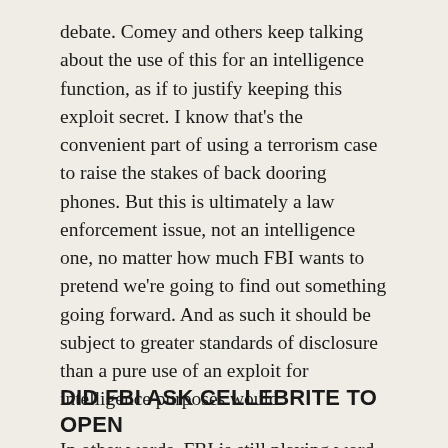debate. Comey and others keep talking about the use of this for an intelligence function, as if to justify keeping this exploit secret. I know that's the convenient part of using a terrorism case to raise the stakes of back dooring phones. But this is ultimately a law enforcement issue, not an intelligence one, no matter how much FBI wants to pretend we're going to find out something going forward. And as such it should be subject to greater standards of disclosure than a pure use of an exploit for intelligence purposes would.
In other words, FBI is still playing word games.
DID FBI ASK CELLEBRITE TO OPEN